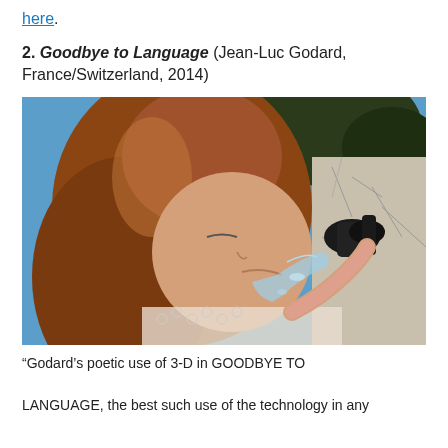here.
2. Goodbye to Language (Jean-Luc Godard, France/Switzerland, 2014)
[Figure (photo): A woman with long curly reddish-auburn hair drinking from an outdoor water fountain. She has her eyes closed and water is splashing. She is wearing a lace/crochet top. The background shows blue sky and dark trees. A cracked stone wall is visible on the right.]
“Godard’s poetic use of 3-D in GOODBYE TO LANGUAGE, the best such use of the technology in any